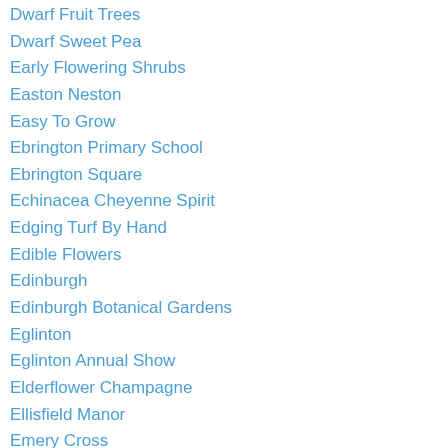Dwarf Fruit Trees
Dwarf Sweet Pea
Early Flowering Shrubs
Easton Neston
Easy To Grow
Ebrington Primary School
Ebrington Square
Echinacea Cheyenne Spirit
Edging Turf By Hand
Edible Flowers
Edinburgh
Edinburgh Botanical Gardens
Eglinton
Eglinton Annual Show
Elderflower Champagne
Ellisfield Manor
Emery Cross
Emmet Mccourt
Emmett Mccourt
Environmentally Friendly
Ericaceous